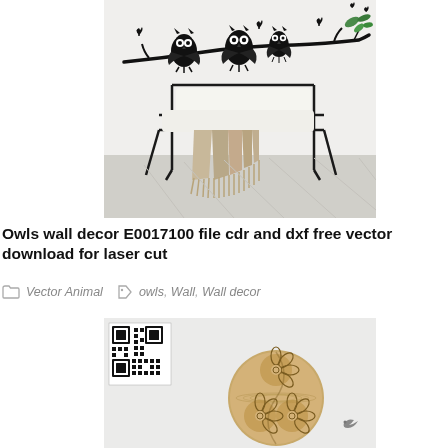[Figure (photo): Photo of a modern wire-frame chair with white cushions and a beige throw blanket, against a white wall. On the wall above the chair is a black owl wall decor sticker showing owls perched on a branch with butterflies and leaves.]
Owls wall decor E0017100 file cdr and dxf free vector download for laser cut
Vector Animal   owls, Wall, Wall decor
[Figure (photo): Photo of a wooden circular wall decor piece with laser-cut flower patterns in a yin-yang style arrangement, with a QR code visible in the top-left corner.]